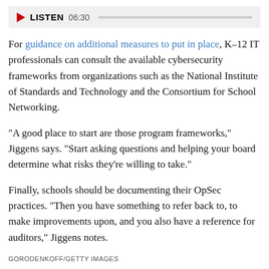[Figure (other): Audio player bar with red play triangle, LISTEN label, duration 06:30, and a progress track]
For guidance on additional measures to put in place, K–12 IT professionals can consult the available cybersecurity frameworks from organizations such as the National Institute of Standards and Technology and the Consortium for School Networking.
"A good place to start are those program frameworks," Jiggens says. "Start asking questions and helping your board determine what risks they're willing to take."
Finally, schools should be documenting their OpSec practices. "Then you have something to refer back to, to make improvements upon, and you also have a reference for auditors," Jiggens notes.
GORODENKOFF/GETTY IMAGES